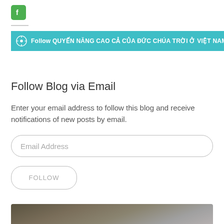[Figure (logo): Facebook icon in green rounded square]
Follow QUYẾN NĂNG CAO CẢ CỦA ĐỨC CHÚA TRỜI Ở VIỆT NAM (Ê-phê 1:4-5
Follow Blog via Email
Enter your email address to follow this blog and receive notifications of new posts by email.
Email Address
FOLLOW
[Figure (photo): Dark blurry photo at bottom of page]